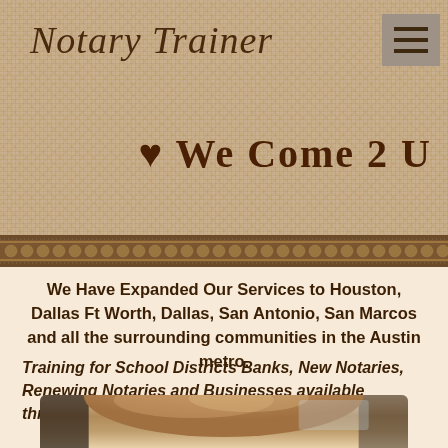Notary Trainer
We Come 2 U
We Have Expanded Our Services to Houston, Dallas Ft Worth, Dallas, San Antonio, San Marcos and all the surrounding communities in the Austin metro.
Training for School Districts Banks, New Notaries, Renewing Notaries and Businesses available throughout Texas.
[Figure (photo): A close-up photo of a person's head/hair taken from inside a car, showing the top and side of their head with light reddish-brown hair.]